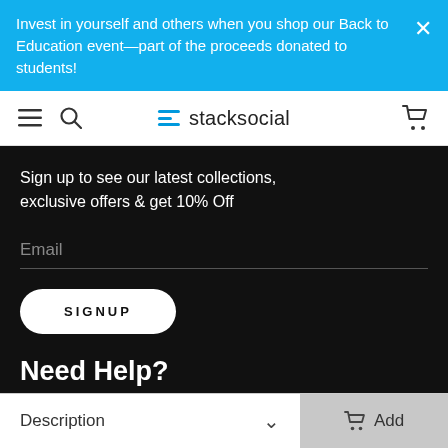Invest in yourself and others when you shop our Back to Education event—part of the proceeds donated to students!
[Figure (screenshot): StackSocial website navigation bar with hamburger menu, search icon, StackSocial logo (with blue line icon), and cart icon]
Sign up to see our latest collections, exclusive offers & get 10% Off
Email
SIGNUP
Need Help?
LOGIN
CONTACT
Description  Add